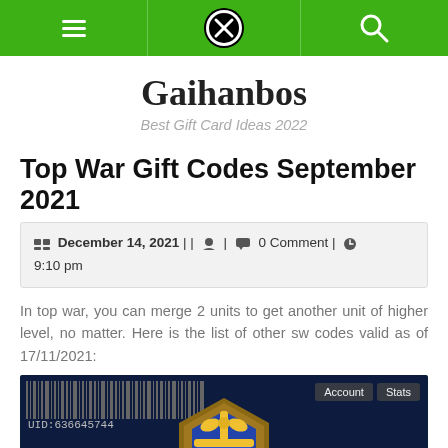Navigation bar with menu, logo (X), and search icons
Gaihanbos
Best Gift Card Ideas 2022
Top War Gift Codes September 2021
December 14, 2021 | | [user icon] | [comment icon] 0 Comment | [clock icon] 9:10 pm
In top war, you can merge 2 units to get another unit of higher level, no matter. Here is the list of other sw codes valid as of 17/11/2021:
[Figure (screenshot): Game screenshot showing Top War interface with barcode, UID, Account and Stats buttons, and a gold gift box with ribbon and X mark in the center on a dark blue background]